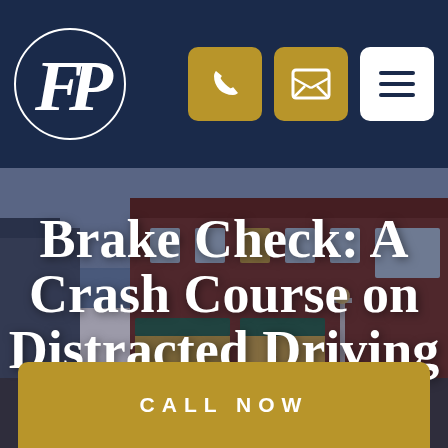[Figure (logo): Law firm logo: circular badge with white border containing the letters FP in serif font, on dark navy background]
[Figure (screenshot): Website header with dark navy background showing firm logo on left, two gold rounded-square icon buttons (phone, email) and one white rounded-square menu/hamburger button on the right]
Brake Check: A Crash Course on Distracted Driving
Posted on April 24, 2015
[Figure (photo): Street-level photograph of a downtown area with brick buildings, storefronts with green awnings, and warm street lighting at dusk]
CALL NOW